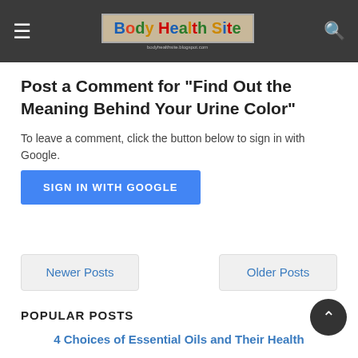Body Health Site
Post a Comment for "Find Out the Meaning Behind Your Urine Color"
To leave a comment, click the button below to sign in with Google.
SIGN IN WITH GOOGLE
Newer Posts
Older Posts
POPULAR POSTS
4 Choices of Essential Oils and Their Health